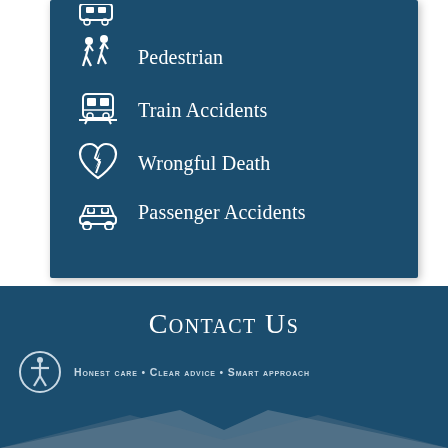Pedestrian
Train Accidents
Wrongful Death
Passenger Accidents
Contact Us
Honest care • Clear advice • Smart approach